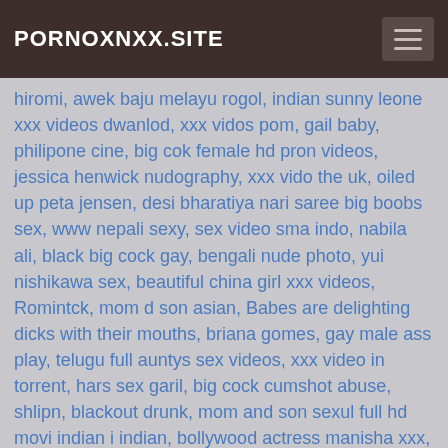PORNOXNXX.SITE
hiromi, awek baju melayu rogol, indian sunny leone xxx videos dwanlod, xxx vidos pom, gail baby, philipone cine, big cok female hd pron videos, jessica henwick nudography, xxx vido the uk, oiled up peta jensen, desi bharatiya nari saree big boobs sex, www nepali sexy, sex video sma indo, nabila ali, black big cock gay, bengali nude photo, yui nishikawa sex, beautiful china girl xxx videos, Romintck, mom d son asian, Babes are delighting dicks with their mouths, briana gomes, gay male ass play, telugu full auntys sex videos, xxx video in torrent, hars sex garil, big cock cumshot abuse, shlipn, blackout drunk, mom and son sexul full hd movi indian i indian, bollywood actress manisha xxx, xxxx hd jojovideo, mia sollis fucked, amoi di webcam, willian carioca xvideos, xxx 21 video small bobas, soovag rat, bbc teen squirt, amiture teen dp, teacher and 16 years old boy sex, katja krasavice